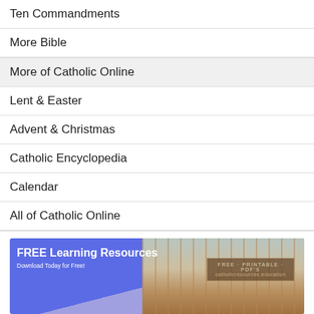Ten Commandments
More Bible
More of Catholic Online
Lent & Easter
Advent & Christmas
Catholic Encyclopedia
Calendar
All of Catholic Online
[Figure (infographic): Banner advertisement for FREE Learning Resources - Download Today for Free! with classroom photo background. Text reads FREE PRINTABLE PDF's catholicresources.education]